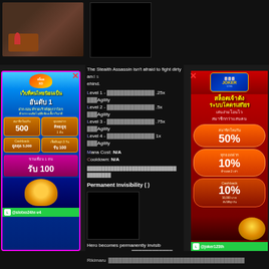[Figure (screenshot): Top area with two video thumbnails — a board game scene and a black thumbnail]
The Stealth Assassin isn't afraid to fight dirty and s behind.
Level 1 - ████████████████ .25x ████Agility
Level 2 - ████████████████ .5x ████Agility
Level 3 - ████████████████ .75x ████Agility
Level 4 - ████████████████ 1x ████Agility
Mana Cost: N/A
Cooldown: N/A
████████████████████████████████████████ ████████████
Permanent Invisibility (  )
Hero becomes permanently invisib
Level 1 - 3.5 second ████████████████
Level 2- 2.5 second ████████████████
Level 3 - 1.5 second ████████████████
Mana Cost:N/A
Cooldown: N/A
[Figure (screenshot): Left Thai casino advertisement banner (slotxo24hr) with pink border, Thai text, 500 welcome bonus, cashback, invite reward]
[Figure (screenshot): Right Thai casino advertisement banner (joker123th) with red background, slot machine ad, 50% new member, 10% deposit, 10% cashback]
Rikimaru ████████████████████████████████████████